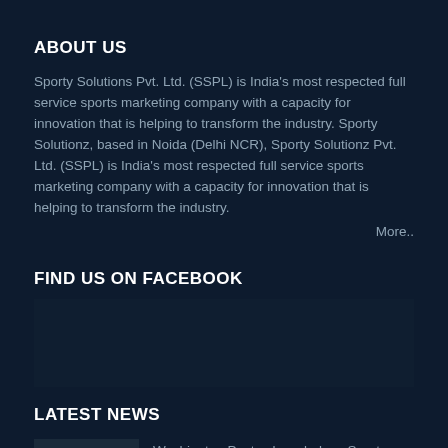ABOUT US
Sporty Solutions Pvt. Ltd. (SSPL) is India's most respected full service sports marketing company with a capacity for innovation that is helping to transform the industry. Sporty Solutionz, based in Noida (Delhi NCR), Sporty Solutionz Pvt. Ltd. (SSPL) is India's most respected full service sports marketing company with a capacity for innovation that is helping to transform the industry.
More..
FIND US ON FACEBOOK
LATEST NEWS
Washington Post acknowledges Sporty Solutionz-UWW tie-up for wrestling's growth.